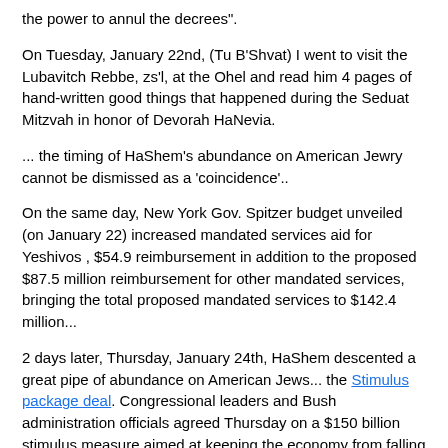the power to annul the decrees".
On Tuesday, January 22nd, (Tu B'Shvat) I went to visit the Lubavitch Rebbe, zs'l, at the Ohel and read him 4 pages of hand-written good things that happened during the Seduat Mitzvah in honor of Devorah HaNevia.
... the timing of HaShem's abundance on American Jewry cannot be dismissed as a 'coincidence'..
On the same day, New York Gov. Spitzer budget unveiled (on January 22) increased mandated services aid for Yeshivos , $54.9 reimbursement in addition to the proposed $87.5 million reimbursement for other mandated services, bringing the total proposed mandated services to $142.4 million...
2 days later, Thursday, January 24th, HaShem descented a great pipe of abundance on American Jews... the Stimulus package deal. Congressional leaders and Bush administration officials agreed Thursday on a $150 billion stimulus measure aimed at keeping the economy from falling